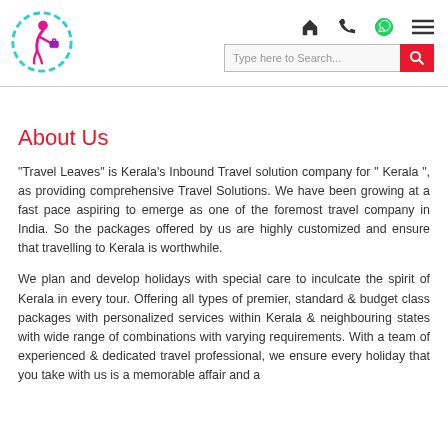[Figure (logo): Travel company logo: pink/magenta figure with suitcase inside a dashed teal circle]
Navigation icons: home, phone, WhatsApp, hamburger menu; search bar with red search button
About Us
"Travel Leaves" is Kerala's Inbound Travel solution company for " Kerala ", as providing comprehensive Travel Solutions. We have been growing at a fast pace aspiring to emerge as one of the foremost travel company in India. So the packages offered by us are highly customized and ensure that travelling to Kerala is worthwhile.
We plan and develop holidays with special care to inculcate the spirit of Kerala in every tour. Offering all types of premier, standard & budget class packages with personalized services within Kerala & neighbouring states with wide range of combinations with varying requirements. With a team of experienced & dedicated travel professional, we ensure every holiday that you take with us is a memorable affair and a